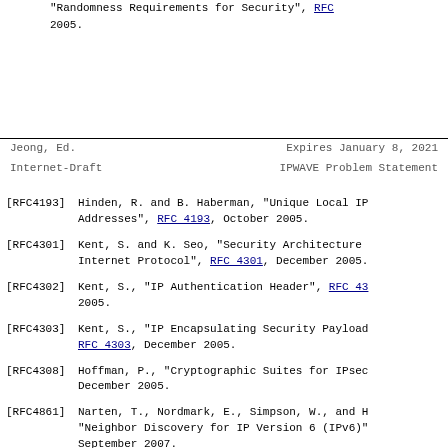"Randomness Requirements for Security", RFC 2005.
Jeong, Ed.                    Expires January 8, 2021
Internet-Draft          IPWAVE Problem Statement
[RFC4193]   Hinden, R. and B. Haberman, "Unique Local IP Addresses", RFC 4193, October 2005.
[RFC4301]   Kent, S. and K. Seo, "Security Architecture Internet Protocol", RFC 4301, December 2005.
[RFC4302]   Kent, S., "IP Authentication Header", RFC 43 2005.
[RFC4303]   Kent, S., "IP Encapsulating Security Payload RFC 4303, December 2005.
[RFC4308]   Hoffman, P., "Cryptographic Suites for IPsec December 2005.
[RFC4861]   Narten, T., Nordmark, E., Simpson, W., and H "Neighbor Discovery for IP Version 6 (IPv6)" September 2007.